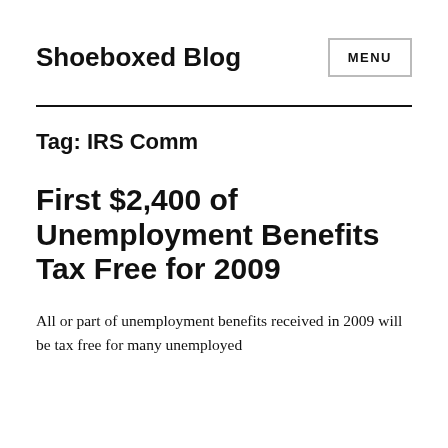Shoeboxed Blog
Tag: IRS Comm
First $2,400 of Unemployment Benefits Tax Free for 2009
All or part of unemployment benefits received in 2009 will be tax free for many unemployed